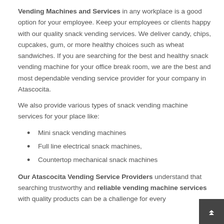Vending Machines and Services in any workplace is a good option for your employee. Keep your employees or clients happy with our quality snack vending services. We deliver candy, chips, cupcakes, gum, or more healthy choices such as wheat sandwiches. If you are searching for the best and healthy snack vending machine for your office break room, we are the best and most dependable vending service provider for your company in Atascocita.
We also provide various types of snack vending machine services for your place like:
Mini snack vending machines
Full line electrical snack machines,
Countertop mechanical snack machines
Our Atascocita Vending Service Providers understand that searching trustworthy and reliable vending machine services with quality products can be a challenge for every